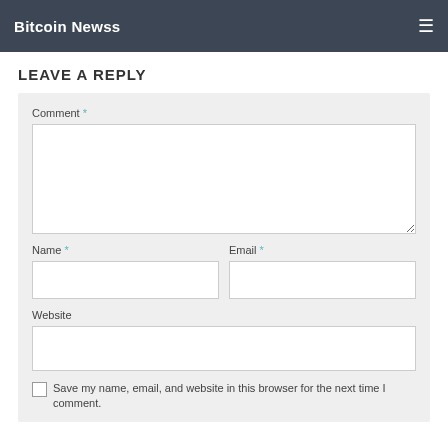Bitcoin Newss
LEAVE A REPLY
Comment *
Name *
Email *
Website
Save my name, email, and website in this browser for the next time I comment.